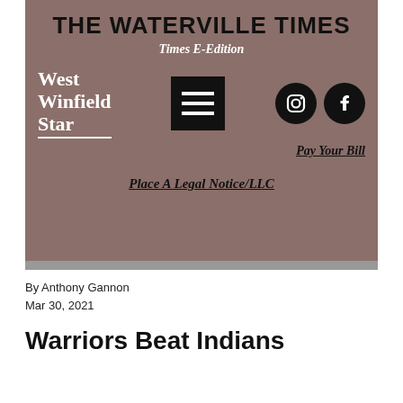THE WATERVILLE TIMES
Times E-Edition
[Figure (screenshot): Newspaper website header banner with West Winfield Star logo, hamburger menu icon, Instagram and Facebook social icons, Pay Your Bill link, and Place A Legal Notice/LLC link on a brownish-mauve background]
By Anthony Gannon
Mar 30, 2021
Warriors Beat Indians